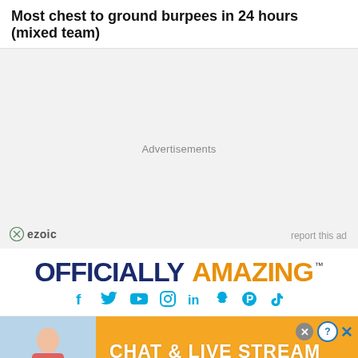Most chest to ground burpees in 24 hours (mixed team)
[Figure (other): Advertisement placeholder area with ezoic branding and 'report this ad' link. Background is light grey.]
[Figure (logo): Officially Amazing logo with social media icons (Facebook, Twitter, YouTube, Instagram, LinkedIn, Snapchat, Pinterest, TikTok)]
[Figure (other): Bottom banner advertisement for 'Chat & Live Stream' by Clover. Yellow/orange background with a photo of a woman on the left side. Close (X) and help (?) buttons in top right corner.]